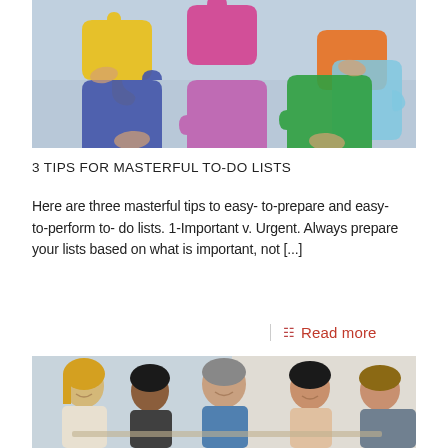[Figure (photo): Hands holding colorful puzzle pieces (yellow, pink, orange, blue, purple, green) in the air against a cloudy sky background]
3 TIPS FOR MASTERFUL TO-DO LISTS
Here are three masterful tips to easy- to-prepare and easy-to-perform to- do lists. 1-Important v. Urgent. Always prepare your lists based on what is important, not [...]
Read more
[Figure (photo): Group of business people in a meeting, smiling and engaged in conversation around a table in an office setting]